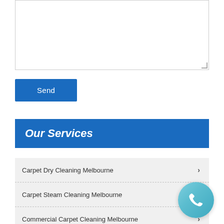[Figure (screenshot): Textarea input field with resize handle in bottom-right corner]
Send
Our Services
Carpet Dry Cleaning Melbourne
Carpet Steam Cleaning Melbourne
Commercial Carpet Cleaning Melbourne
Tile and Grout Cleaning Melbourne
Upholstery Cleaning Melbourne
[Figure (illustration): Round light blue phone call button with white telephone handset icon]